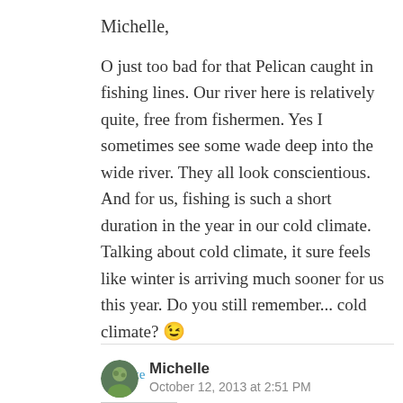Michelle,
O just too bad for that Pelican caught in fishing lines. Our river here is relatively quite, free from fishermen. Yes I sometimes see some wade deep into the wide river. They all look conscientious. And for us, fishing is such a short duration in the year in our cold climate. Talking about cold climate, it sure feels like winter is arriving much sooner for us this year. Do you still remember... cold climate? 😉
★ Like
REPLY
Michelle
October 12, 2013 at 2:51 PM